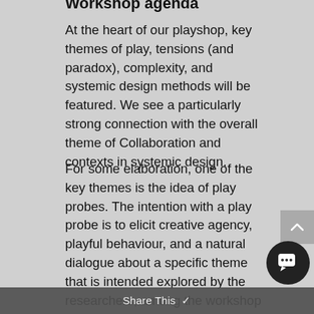Workshop agenda
At the heart of our playshop, key themes of play, tensions (and paradox), complexity, and systemic design methods will be featured. We see a particularly strong connection with the overall theme of Collaboration and contexts in systemic design.
For some elaboration, one of the key themes is the idea of play probes. The intention with a play probe is to elicit creative agency, playful behaviour, and a natural dialogue about a specific theme that is intended explored by the researchers, among the workshop partakers through framing. The idea of such elicitation is to be able to